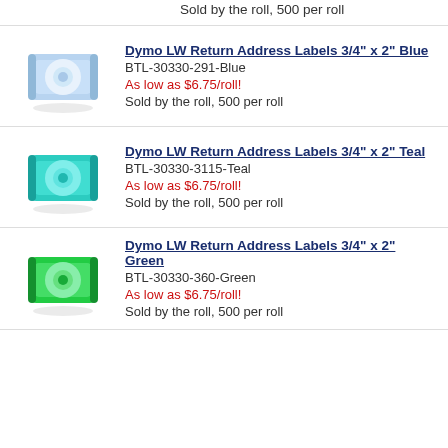Sold by the roll, 500 per roll
[Figure (illustration): Blue label roll product image]
Dymo LW Return Address Labels 3/4" x 2" Blue
BTL-30330-291-Blue
As low as $6.75/roll!
Sold by the roll, 500 per roll
[Figure (illustration): Teal label roll product image]
Dymo LW Return Address Labels 3/4" x 2" Teal
BTL-30330-3115-Teal
As low as $6.75/roll!
Sold by the roll, 500 per roll
[Figure (illustration): Green label roll product image]
Dymo LW Return Address Labels 3/4" x 2" Green
BTL-30330-360-Green
As low as $6.75/roll!
Sold by the roll, 500 per roll